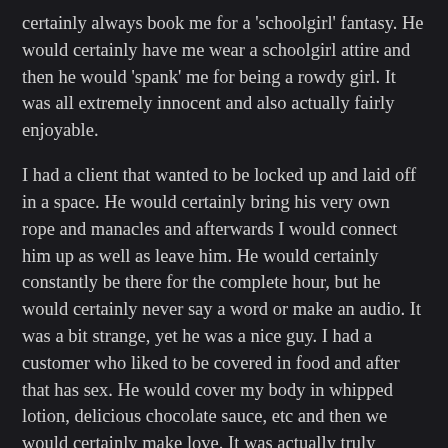certainly always book me for a 'schoolgirl' fantasy. He would certainly have me wear a schoolgirl attire and then he would 'spank' me for being a rowdy girl. It was all extremely innocent and also actually fairly enjoyable.
I had a client that wanted to be locked up and laid off in a space. He would certainly bring his very own rope and manacles and afterwards I would connect him up as well as leave him. He would certainly constantly be there for the complete hour, but he would certainly never say a word or make an audio. It was a bit strange, yet he was a nice guy. I had a customer who liked to be covered in food and after that has sex. He would cover my body in whipped lotion, delicious chocolate sauce, etc and then we would certainly make love. It was actually truly enjoyable and also kind of untidy.
I had a client that suched as to be verbally humiliated. He